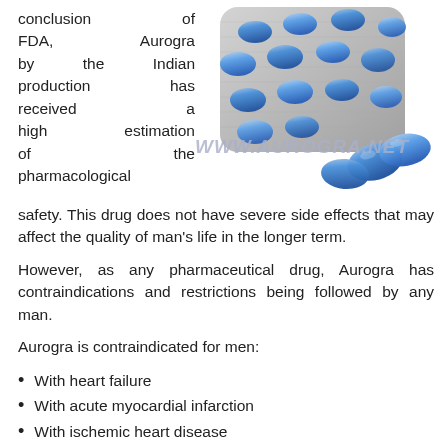conclusion of FDA, Aurogra by the Indian production has received a high estimation of the pharmacological safety. This drug does not have severe side effects that may affect the quality of man's life in the longer term.
[Figure (photo): Blister pack of blue oval pills (Aurogra/sildenafil tablets) with some pills loose, watermark text WWW.AUROGRA.NET overlaid]
However, as any pharmaceutical drug, Aurogra has contraindications and restrictions being followed by any man.
Aurogra is contraindicated for men:
With heart failure
With acute myocardial infarction
With ischemic heart disease